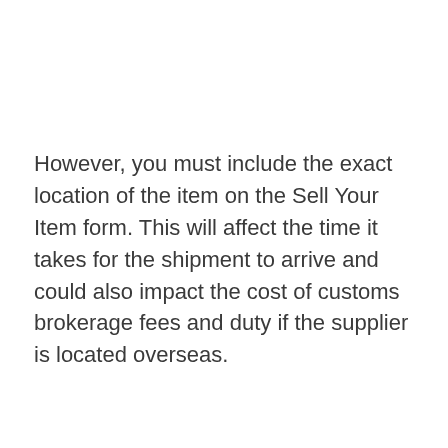However, you must include the exact location of the item on the Sell Your Item form. This will affect the time it takes for the shipment to arrive and could also impact the cost of customs brokerage fees and duty if the supplier is located overseas.